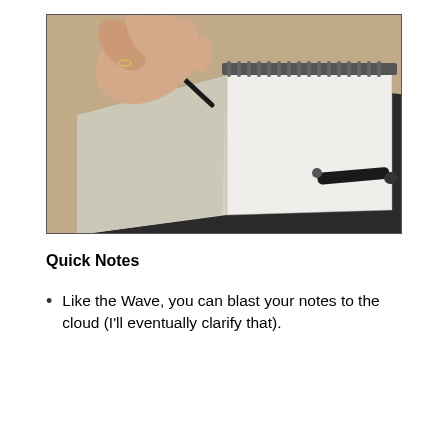[Figure (photo): A hand holding a pen over an open spiral-bound notebook on a beige/tan surface. A pen cap lies on the surface to the right.]
Quick Notes
Like the Wave, you can blast your notes to the cloud (I'll eventually clarify that).